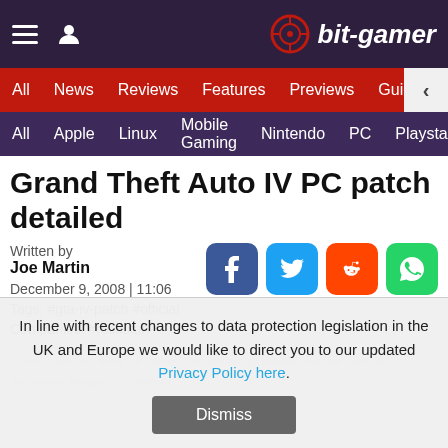bit-gamer
All | News | Reviews | Features | Previews | Guides | Blogs
All | Apple | Linux | Mobile Gaming | Nintendo | PC | Playsta...
Grand Theft Auto IV PC patch detailed
Written by
Joe Martin
December 9, 2008 | 11:06
Tags: #gta-iv-patch #official
Companies: #rockstar
In line with recent changes to data protection legislation in the UK and Europe we would like to direct you to our updated Privacy Policy here.